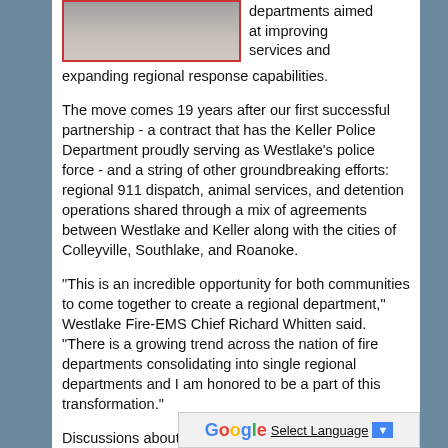[Figure (photo): Partial photo visible at top left, cropped with red border, showing people or officials]
departments aimed at improving services and expanding regional response capabilities.
The move comes 19 years after our first successful partnership - a contract that has the Keller Police Department proudly serving as Westlake's police force - and a string of other groundbreaking efforts: regional 911 dispatch, animal services, and detention operations shared through a mix of agreements between Westlake and Keller along with the cities of Colleyville, Southlake, and Roanoke.
"This is an incredible opportunity for both communities to come together to create a regional department," Westlake Fire-EMS Chief Richard Whitten said. "There is a growing trend across the nation of fire departments consolidating into single regional departments and I am honored to be a part of this transformation."
Discussions about the potential for a Fire Department merger began as the City of Keller prepared for the retirement of Fire Chief David Jones i…